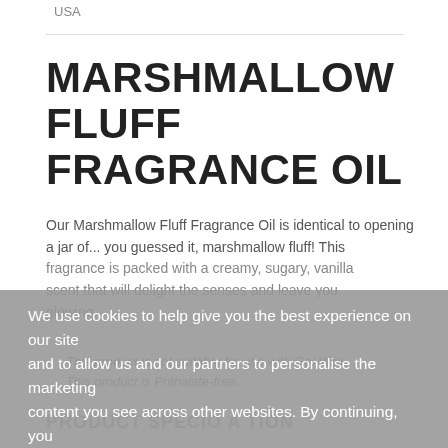USA
MARSHMALLOW FLUFF FRAGRANCE OIL
Our Marshmallow Fluff Fragrance Oil is identical to opening a jar of... you guessed it, marshmallow fluff! This fragrance is packed with a creamy, sugary, vanilla scent that will delight the senses and leave you glowing.
This product is not suitable for use with Gel Wax.
This product is Phthalate-free.
PRODUCT SPECIFICATION
Our fragrance oils are 100% concentrated. Compatible
We use cookies to help give you the best experience on our site and to allow us and our partners to personalise the marketing content you see across other websites. By continuing, you agree to our use of cookies.
More information
I AGREE